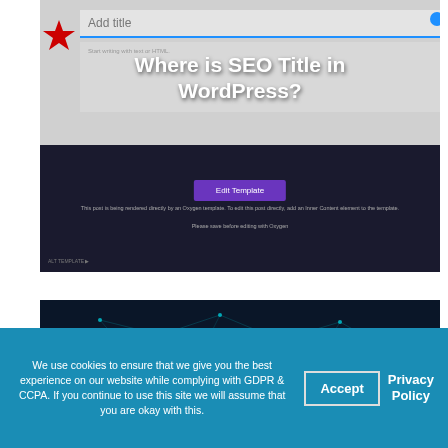[Figure (screenshot): WordPress block editor screenshot showing 'Add title' field with blue underline and a red star icon, with text 'Start writing with text or HTML.' below. The lower half shows a dark Oxygen builder panel with 'Edit Template' purple button and instructional text.]
Where is SEO Title in WordPress?
[Figure (screenshot): Dark blue network/neural network background image with teal glowing nodes and connecting lines.]
We use cookies to ensure that we give you the best experience on our website while complying with GDPR & CCPA. If you continue to use this site we will assume that you are okay with this.